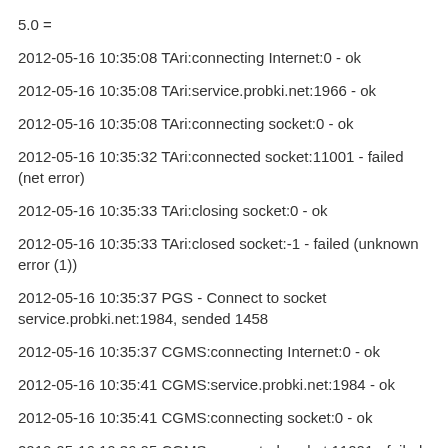5.0 =
2012-05-16 10:35:08 TAri:connecting Internet:0 - ok
2012-05-16 10:35:08 TAri:service.probki.net:1966 - ok
2012-05-16 10:35:08 TAri:connecting socket:0 - ok
2012-05-16 10:35:32 TAri:connected socket:11001 - failed (net error)
2012-05-16 10:35:33 TAri:closing socket:0 - ok
2012-05-16 10:35:33 TAri:closed socket:-1 - failed (unknown error (1))
2012-05-16 10:35:37 PGS - Connect to socket service.probki.net:1984, sended 1458
2012-05-16 10:35:37 CGMS:connecting Internet:0 - ok
2012-05-16 10:35:41 CGMS:service.probki.net:1984 - ok
2012-05-16 10:35:41 CGMS:connecting socket:0 - ok
2012-05-16 10:36:05 CGMS:connected socket:11001 - failed (net